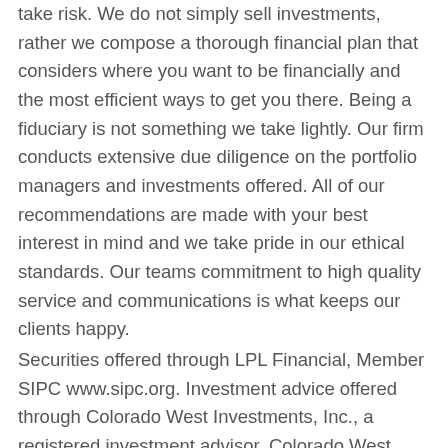take risk. We do not simply sell investments, rather we compose a thorough financial plan that considers where you want to be financially and the most efficient ways to get you there. Being a fiduciary is not something we take lightly. Our firm conducts extensive due diligence on the portfolio managers and investments offered. All of our recommendations are made with your best interest in mind and we take pride in our ethical standards. Our teams commitment to high quality service and communications is what keeps our clients happy.
Securities offered through LPL Financial, Member SIPC www.sipc.org. Investment advice offered through Colorado West Investments, Inc., a registered investment advisor. Colorado West